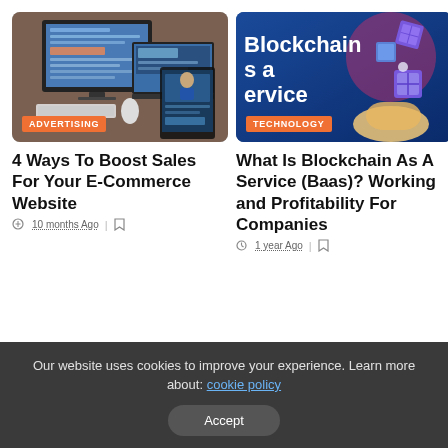[Figure (photo): Screenshot showing Apple iMac and MacBook with a tablet displaying a marketing website, on a wooden desk surface — category badge: ADVERTISING]
[Figure (illustration): Blockchain as a Service promotional graphic with blue background, 3D cube icons and a hand — category badge: TECHNOLOGY]
4 Ways To Boost Sales For Your E-Commerce Website
10 months Ago
What Is Blockchain As A Service (Baas)? Working and Profitability For Companies
1 year Ago
Our website uses cookies to improve your experience. Learn more about: cookie policy